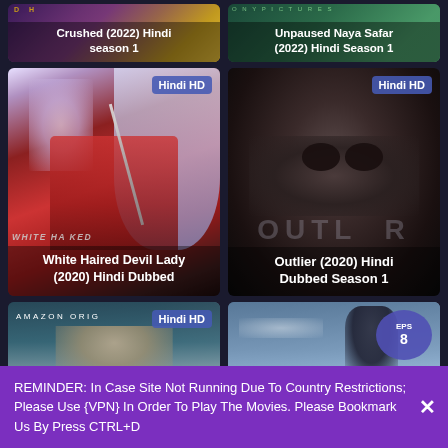[Figure (screenshot): Movie thumbnail for Crushed (2022) Hindi season 1 - top row, partially cropped]
[Figure (screenshot): Movie thumbnail for Unpaused Naya Safar (2022) Hindi Season 1 - top row, partially cropped]
[Figure (screenshot): Movie thumbnail for White Haired Devil Lady (2020) Hindi Dubbed with Hindi HD badge]
[Figure (screenshot): Movie thumbnail for Outlier (2020) Hindi Dubbed Season 1 with Hindi HD badge]
[Figure (screenshot): Amazon Original movie thumbnail with Hindi HD badge - bottom row partial]
[Figure (screenshot): Movie thumbnail with EPS 8 badge - bottom row partial]
REMINDER: In Case Site Not Running Due To Country Restrictions; Please Use {VPN} In Order To Play The Movies. Please Bookmark Us By Press CTRL+D